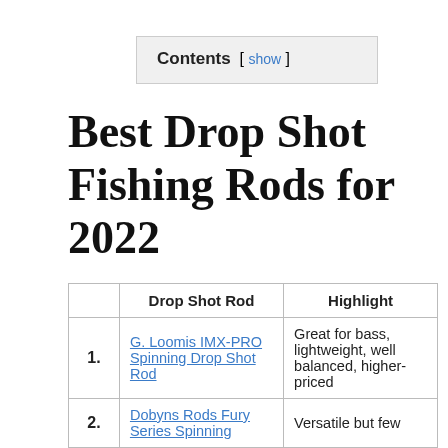Contents [ show ]
Best Drop Shot Fishing Rods for 2022
|  | Drop Shot Rod | Highlight |
| --- | --- | --- |
| 1. | G. Loomis IMX-PRO Spinning Drop Shot Rod | Great for bass, lightweight, well balanced, higher-priced |
| 2. | Dobyns Rods Fury Series Spinning | Versatile but few |